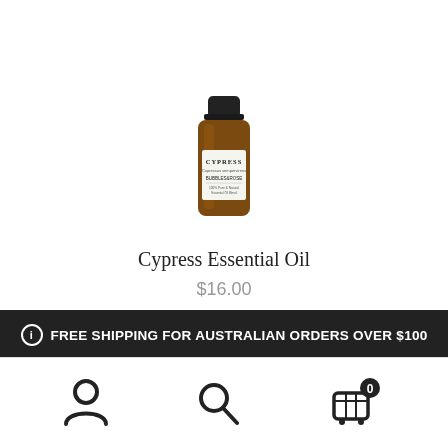[Figure (photo): Small amber glass bottle with black cap and white label reading 'Cypress Essential Oil']
Cypress Essential Oil
$16.00
FREE SHIPPING FOR AUSTRALIAN ORDERS OVER $100
Dismiss
[Figure (infographic): Bottom navigation bar with user account icon, search icon, and shopping cart icon with badge showing 0]